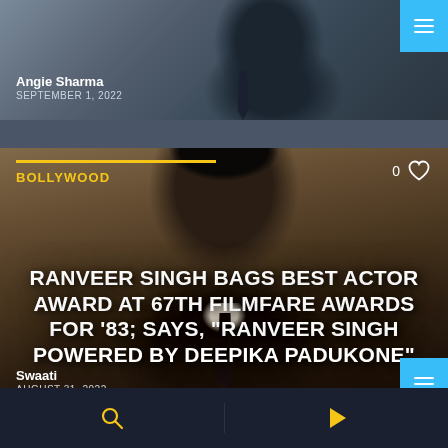[Figure (photo): Top card: person in dark suit with tie, partially visible from shoulders up]
Angie Sharma
SEPTEMBER 1, 2022
BOLLYWOOD
[Figure (photo): Main card: Ranveer Singh in dark suit with tie, styled hair, looking to the side, warm golden/brown background]
RANVEER SINGH BAGS BEST ACTOR AWARD AT 67TH FILMFARE AWARDS FOR '83; SAYS, "RANVEER SINGH POWERED BY DEEPIKA PADUKONE"
Swaati
AUGUST 31, 2022